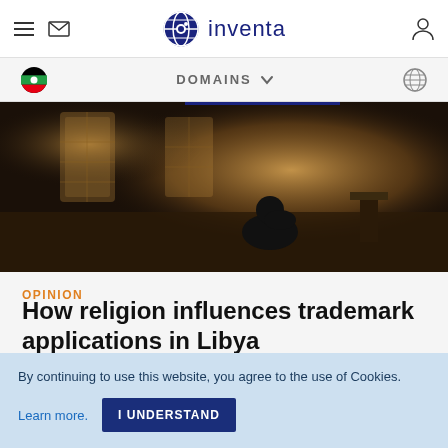inventa — navigation header with hamburger menu, envelope icon, globe logo, user icon
DOMAINS (navigation bar with flag and globe icons)
[Figure (photo): Dark atmospheric photo of a person sitting alone in what appears to be a mosque or religious hall with light streaming through latticed windows]
OPINION
How religion influences trademark applications in Libya
Libya lies along the southern edge of the...
By continuing to use this website, you agree to the use of Cookies.
Learn more. I UNDERSTAND
population of almost 7 million people, 97% of whom are Sunni Muslims. Sharia is the main